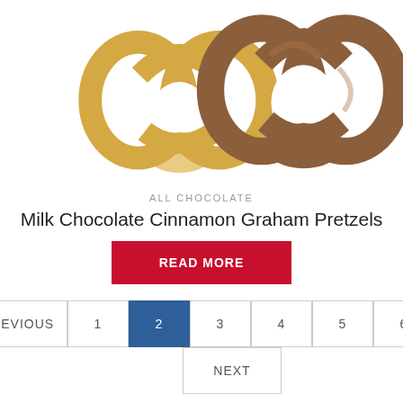[Figure (photo): Two pretzels side by side — a plain golden graham pretzel on the left and a milk chocolate covered pretzel on the right, on a white background.]
ALL CHOCOLATE
Milk Chocolate Cinnamon Graham Pretzels
READ MORE
PREVIOUS  1  2  3  4  5  6  NEXT